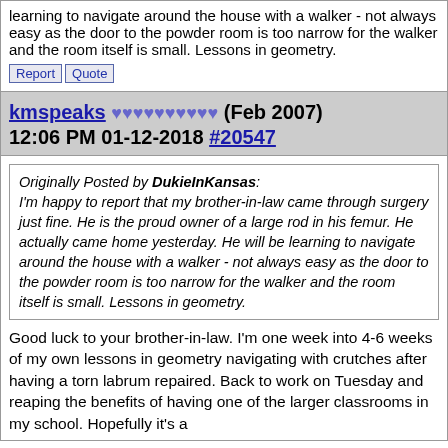learning to navigate around the house with a walker - not always easy as the door to the powder room is too narrow for the walker and the room itself is small. Lessons in geometry.
Report  Quote
kmspeaks ♥♥♥♥♥♥♥♥♥♥ (Feb 2007)
12:06 PM 01-12-2018 #20547
Originally Posted by DukieInKansas:
I'm happy to report that my brother-in-law came through surgery just fine. He is the proud owner of a large rod in his femur. He actually came home yesterday. He will be learning to navigate around the house with a walker - not always easy as the door to the powder room is too narrow for the walker and the room itself is small. Lessons in geometry.
Good luck to your brother-in-law. I'm one week into 4-6 weeks of my own lessons in geometry navigating with crutches after having a torn labrum repaired. Back to work on Tuesday and reaping the benefits of having one of the larger classrooms in my school. Hopefully it's a